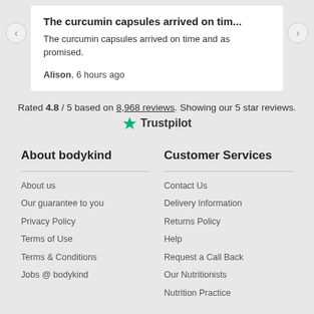The curcumin capsules arrived on tim...
The curcumin capsules arrived on time and as promised.
Alison, 6 hours ago
Rated 4.8 / 5 based on 8,968 reviews. Showing our 5 star reviews.
[Figure (logo): Trustpilot logo with green star]
About bodykind
Customer Services
About us
Our guarantee to you
Privacy Policy
Terms of Use
Terms & Conditions
Jobs @ bodykind
Contact Us
Delivery Information
Returns Policy
Help
Request a Call Back
Our Nutritionists
Nutrition Practice